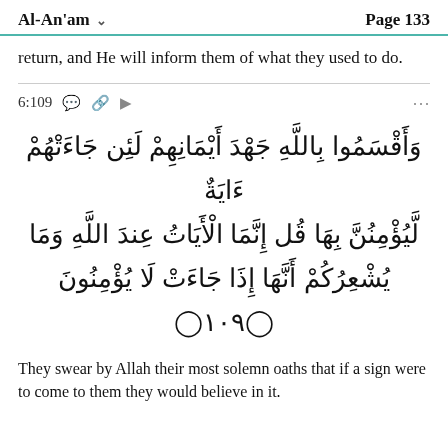Al-An'am    Page 133
return, and He will inform them of what they used to do.
6:109
[Figure (other): Arabic Quranic verse 6:109 in Arabic calligraphy]
They swear by Allah their most solemn oaths that if a sign were to come to them they would believe in it.